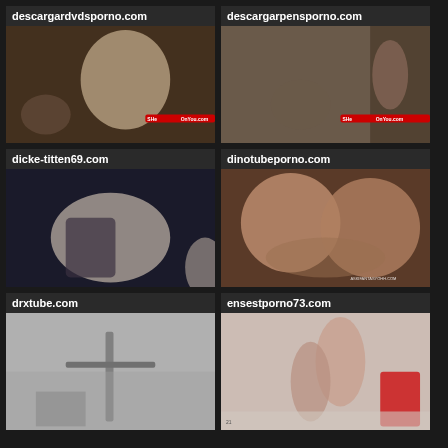[Figure (photo): descargardvdsporno.com thumbnail - adult content]
[Figure (photo): descargarpensporno.com thumbnail - adult content]
[Figure (photo): dicke-titten69.com thumbnail - adult content]
[Figure (photo): dinotubeporno.com thumbnail - adult content]
[Figure (photo): drxtube.com thumbnail - adult content]
[Figure (photo): ensestporno73.com thumbnail - adult content]